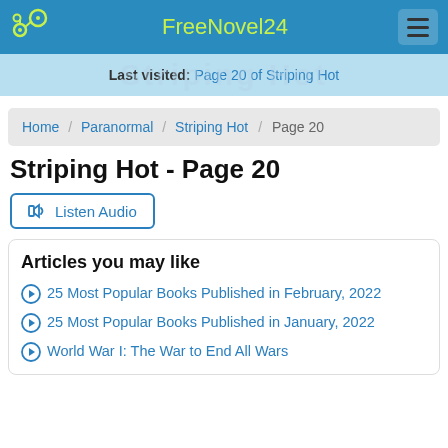FreeNovel24
Last visited: Page 20 of Striping Hot
Home / Paranormal / Striping Hot / Page 20
Striping Hot - Page 20
Listen Audio
Articles you may like
25 Most Popular Books Published in February, 2022
25 Most Popular Books Published in January, 2022
World War I: The War to End All Wars